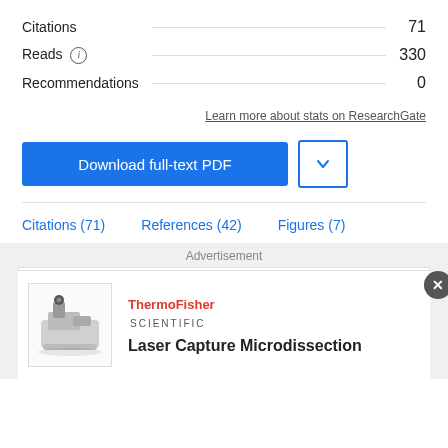Citations 71
Reads 330
Recommendations 0
Learn more about stats on ResearchGate
Download full-text PDF
Citations (71)   References (42)   Figures (7)
Advertisement
[Figure (photo): Laser Capture Microdissection instrument from Thermo Fisher Scientific]
Laser Capture Microdissection